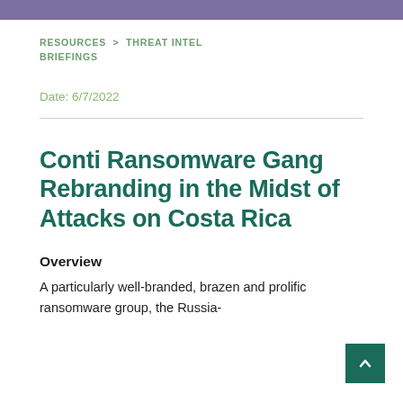RESOURCES > THREAT INTEL BRIEFINGS
Date: 6/7/2022
Conti Ransomware Gang Rebranding in the Midst of Attacks on Costa Rica
Overview
A particularly well-branded, brazen and prolific ransomware group, the Russia-